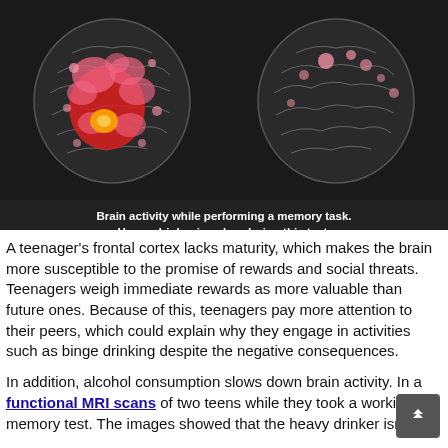[Figure (photo): Two brain MRI scans side by side on black background. Left brain shows large red and pink activation areas (heavy drinker). Right brain shows minimal small pink spots (comparison). Caption: 'Brain activity while performing a memory task. Heavy drinker is sober during this test.' Source: SuSant Tapert, PhD, University of California, San Diego]
A teenager's frontal cortex lacks maturity, which makes the brain more susceptible to the promise of rewards and social threats. Teenagers weigh immediate rewards as more valuable than future ones. Because of this, teenagers pay more attention to their peers, which could explain why they engage in activities such as binge drinking despite the negative consequences.
In addition, alcohol consumption slows down brain activity. In a functional MRI scans of two teens while they took a working memory test. The images showed that the heavy drinker isn't